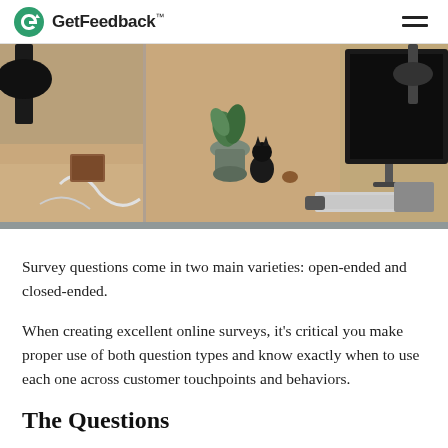GetFeedback™
[Figure (photo): Office desk with a lamp, plants, a small figurine, and a computer monitor]
Survey questions come in two main varieties: open-ended and closed-ended.
When creating excellent online surveys, it's critical you make proper use of both question types and know exactly when to use each one across customer touchpoints and behaviors.
The Questions